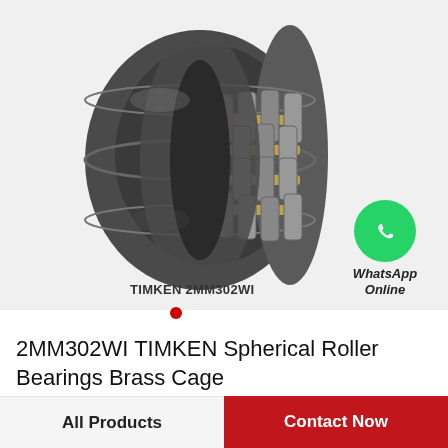[Figure (photo): TIMKEN 2MM302WI spherical roller bearing with brass cage, shown at an angle to reveal the rollers and cage structure. The bearing has a dark metallic outer ring and gold-colored brass cage.]
TIMKEN 2MM302WI
[Figure (logo): WhatsApp green circle icon with white phone handset logo]
WhatsApp Online
2MM302WI TIMKEN Spherical Roller Bearings Brass Cage
All Products
Contact Now